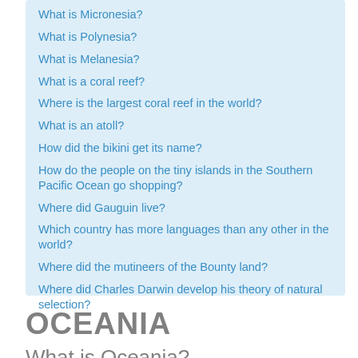What is Micronesia?
What is Polynesia?
What is Melanesia?
What is a coral reef?
Where is the largest coral reef in the world?
What is an atoll?
How did the bikini get its name?
How do the people on the tiny islands in the Southern Pacific Ocean go shopping?
Where did Gauguin live?
Which country has more languages than any other in the world?
Where did the mutineers of the Bounty land?
Where did Charles Darwin develop his theory of natural selection?
OCEANIA
What is Oceania?